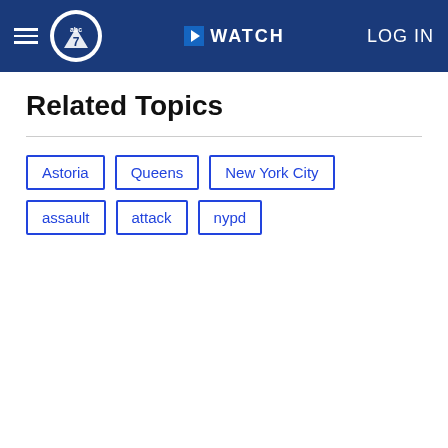abc7 WATCH LOG IN
Related Topics
Astoria
Queens
New York City
assault
attack
nypd